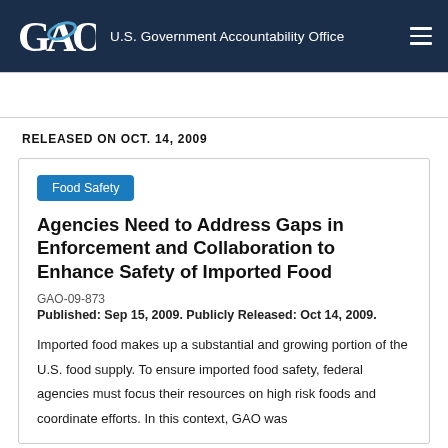GAO U.S. Government Accountability Office
RELEASED ON OCT. 14, 2009
Food Safety
Agencies Need to Address Gaps in Enforcement and Collaboration to Enhance Safety of Imported Food
GAO-09-873
Published: Sep 15, 2009. Publicly Released: Oct 14, 2009.
Imported food makes up a substantial and growing portion of the U.S. food supply. To ensure imported food safety, federal agencies must focus their resources on high risk foods and coordinate efforts. In this context, GAO was